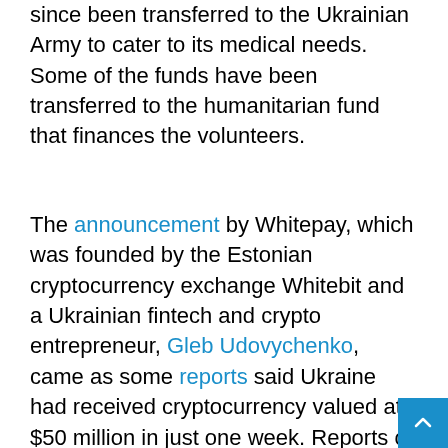since been transferred to the Ukrainian Army to cater to its medical needs. Some of the funds have been transferred to the humanitarian fund that finances the volunteers.
The announcement by Whitepay, which was founded by the Estonian cryptocurrency exchange Whitebit and a Ukrainian fintech and crypto entrepreneur, Gleb Udovychenko, came as some reports said Ukraine had received cryptocurrency valued at $50 million in just one week. Reports of the fundraise also came as Russia's invasion and the bombing of sites in Ukraine continued.
[Figure (screenshot): Tweet from Whitepay (@Whitepay_com) with text: '❗ Raising funds to help the Ministry of Healthcare of Ukraine and civilians ❗']